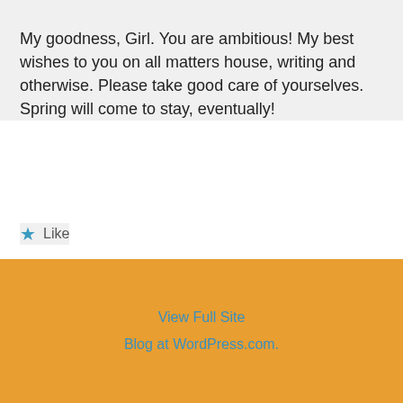My goodness, Girl. You are ambitious! My best wishes to you on all matters house, writing and otherwise. Please take good care of yourselves. Spring will come to stay, eventually!
Like
Reply
View Full Site
Blog at WordPress.com.